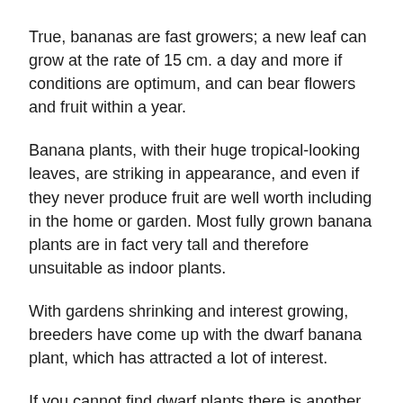True, bananas are fast growers; a new leaf can grow at the rate of 15 cm. a day and more if conditions are optimum, and can bear flowers and fruit within a year.
Banana plants, with their huge tropical-looking leaves, are striking in appearance, and even if they never produce fruit are well worth including in the home or garden. Most fully grown banana plants are in fact very tall and therefore unsuitable as indoor plants.
With gardens shrinking and interest growing, breeders have come up with the dwarf banana plant, which has attracted a lot of interest.
If you cannot find dwarf plants there is another alternative. When a banana plant reaches 1.5 to 2 meters it will probably